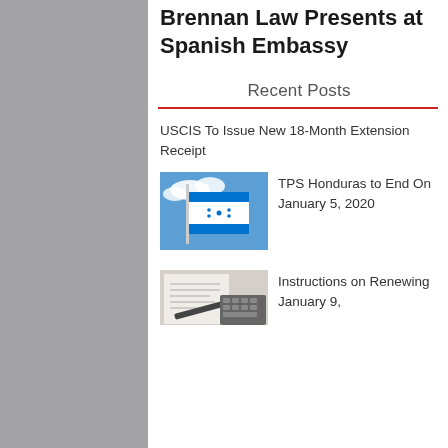Brennan Law Presents at Spanish Embassy
Recent Posts
USCIS To Issue New 18-Month Extension Receipt
[Figure (photo): Honduras flag against blue sky]
TPS Honduras to End On January 5, 2020
[Figure (photo): Document with pen and keyboard]
Instructions on Renewing January 9,